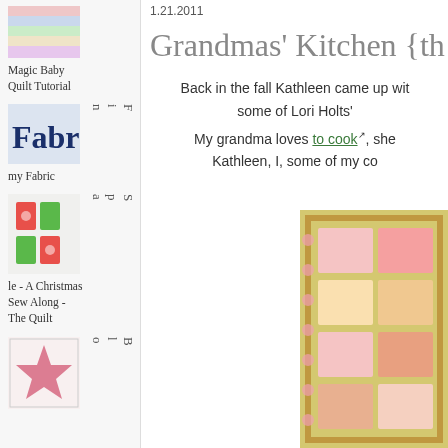[Figure (photo): Thumbnail of a quilt strip pattern (Magic Baby Quilt Tutorial)]
Magic Baby Quilt Tutorial
[Figure (photo): Fabric store logo/text showing 'Fabr' with vertical text 'Find' next to it]
my Fabric
[Figure (photo): Photo of a Christmas quilt hanging - colorful holiday fabric]
Sparkle - A Christmas Sew Along - The Quilt
[Figure (photo): Quilt block with pink star pattern on white background, with vertical text 'Bloc']
1.21.2011
Grandmas' Kitchen {th
Back in the fall Kathleen came up wit some of Lori Holts'
My grandma loves to cook, she Kathleen, I, some of my co
[Figure (photo): Photo of a quilt with kitchen/house themed panels in yellow, pink and orange tones]